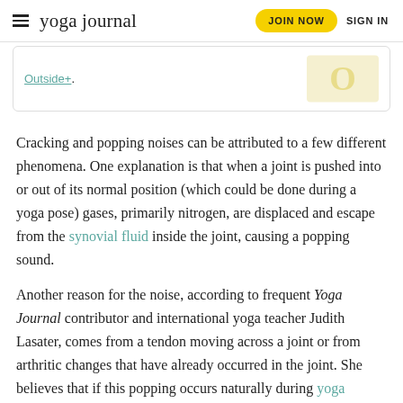yoga journal | JOIN NOW | SIGN IN
Outside+.
Cracking and popping noises can be attributed to a few different phenomena. One explanation is that when a joint is pushed into or out of its normal position (which could be done during a yoga pose) gases, primarily nitrogen, are displaced and escape from the synovial fluid inside the joint, causing a popping sound.
Another reason for the noise, according to frequent Yoga Journal contributor and international yoga teacher Judith Lasater, comes from a tendon moving across a joint or from arthritic changes that have already occurred in the joint. She believes that if this popping occurs naturally during yoga